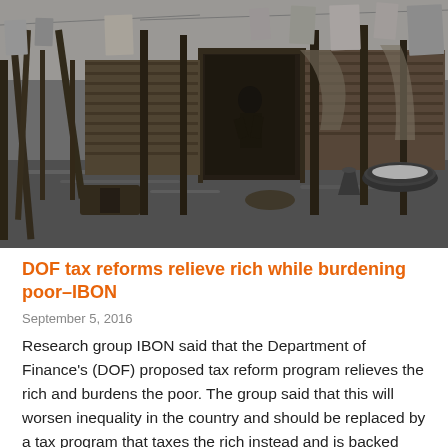[Figure (photo): Black and white photograph of a flooded urban slum area with makeshift wooden structures, debris, and household items visible. A person can be seen in the background.]
DOF tax reforms relieve rich while burdening poor–IBON
September 5, 2016
Research group IBON said that the Department of Finance's (DOF) proposed tax reform program relieves the rich and burdens the poor. The group said that this will worsen inequality in the country and should be replaced by a tax program that taxes the rich instead and is backed with the required political